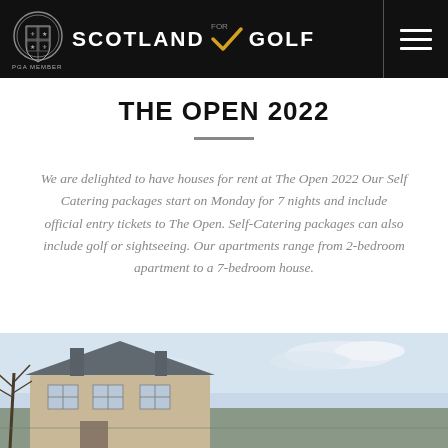SCOTLAND FOR GOLF | PGA MEMBER
THE OPEN 2022
We are delighted to have houses for rent at The Open 2022 Our Self Catering packages start on Monday for 7 nights and include official entry tickets to The Open. Self-Catering packages can also include golf or sightseeing. Our apartments range from 2-bedroom apartment to a 7-bedroom house.
[Figure (photo): Exterior photograph of a Scottish stone house with blue sky and bare tree branches visible. The Open Championship Authorised Provider badge overlaid on the image.]